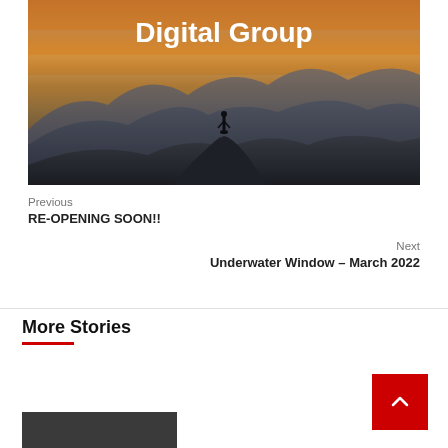[Figure (photo): Mountain landscape at sunset/dusk with layers of misty blue-purple mountains in background and warm orange/gold sky. A lone silhouette of a person stands on a rocky peak in the center foreground. White bold text 'Digital Group' overlaid at top center.]
Previous
RE-OPENING SOON!!
Next
Underwater Window – March 2022
More Stories
[Figure (photo): Small thumbnail image partially visible at bottom left]